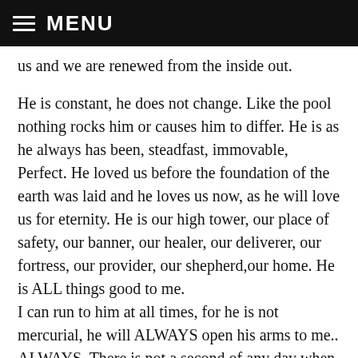MENU
us and we are renewed from the inside out.
He is constant, he does not change. Like the pool nothing rocks him or causes him to differ. He is as he always has been, steadfast, immovable, Perfect. He loved us before the foundation of the earth was laid and he loves us now, as he will love us for eternity. He is our high tower, our place of safety, our banner, our healer, our deliverer, our fortress, our provider, our shepherd,our home. He is ALL things good to me. I can run to him at all times, for he is not mercurial, he will ALWAYS open his arms to me.. ALWAYS. There is not a second of any day when he is not for me, when his eyes are not upon me and his heart is not toward me. This is for always, this is for ever, HE DOES NOT CHANGE. Because he holds my future, all my next moments are in his hands, so I can watch the